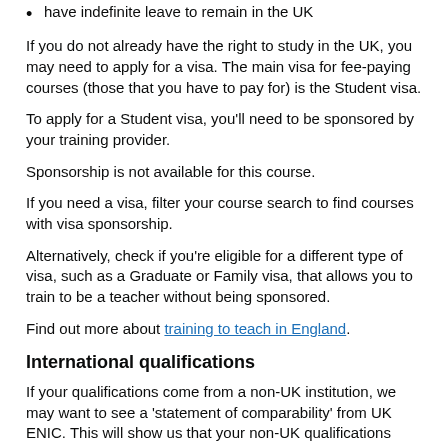have indefinite leave to remain in the UK
If you do not already have the right to study in the UK, you may need to apply for a visa. The main visa for fee-paying courses (those that you have to pay for) is the Student visa.
To apply for a Student visa, you'll need to be sponsored by your training provider.
Sponsorship is not available for this course.
If you need a visa, filter your course search to find courses with visa sponsorship.
Alternatively, check if you're eligible for a different type of visa, such as a Graduate or Family visa, that allows you to train to be a teacher without being sponsored.
Find out more about training to teach in England.
International qualifications
If your qualifications come from a non-UK institution, we may want to see a 'statement of comparability' from UK ENIC. This will show us that your non-UK qualifications